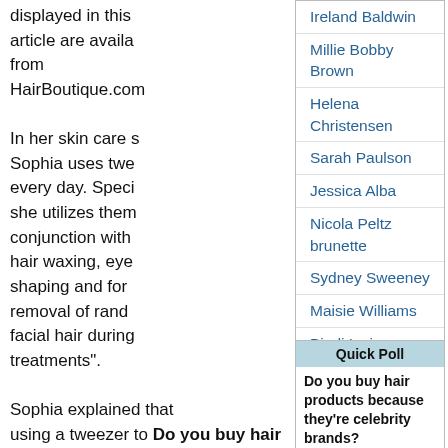displayed in this article are available from HairBoutique.com
Ireland Baldwin
Millie Bobby Brown
Helena Christensen
Sarah Paulson
Jessica Alba
Nicola Peltz brunette
Sydney Sweeney
Maisie Williams
Bindi Irwin
Bella Hadid
In her skin care she Sophia uses tweezers every day. Specifically she utilizes them in conjunction with hair waxing, eyebrow shaping and for removal of random facial hair during treatments".
Quick Poll
Sophia explained that using a tweezer to temporarily remove hair is known as
Do you buy hair products because they're celebrity brands?